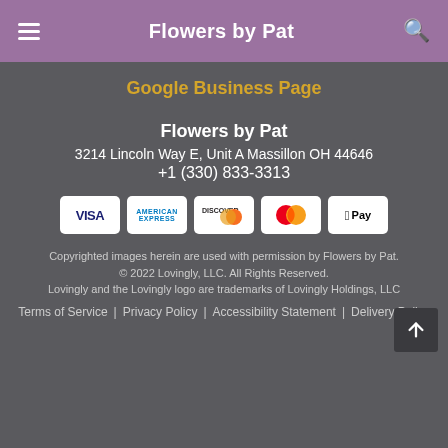Flowers by Pat
Google Business Page
Flowers by Pat
3214 Lincoln Way E, Unit A Massillon OH 44646
+1 (330) 833-3313
[Figure (infographic): Payment method logos: VISA, American Express, Discover, Mastercard, Apple Pay]
Copyrighted images herein are used with permission by Flowers by Pat.
© 2022 Lovingly, LLC. All Rights Reserved.
Lovingly and the Lovingly logo are trademarks of Lovingly Holdings, LLC
Terms of Service | Privacy Policy | Accessibility Statement | Delivery Policy